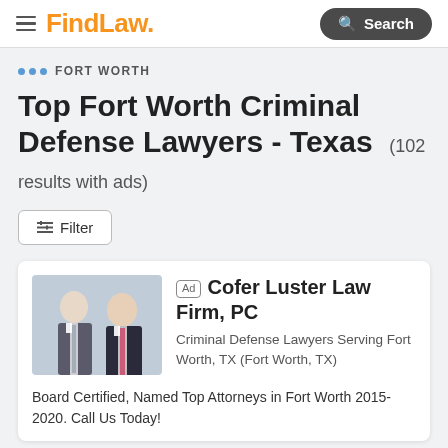FindLaw — Search
FORT WORTH
Top Fort Worth Criminal Defense Lawyers - Texas (102 results with ads)
Filter
Ad — Cofer Luster Law Firm, PC
Criminal Defense Lawyers Serving Fort Worth, TX (Fort Worth, TX)
Board Certified, Named Top Attorneys in Fort Worth 2015-2020. Call Us Today!